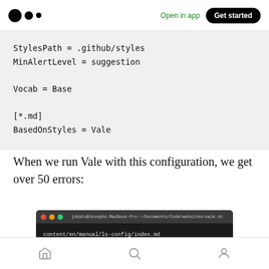Medium logo | Open in app | Get started
StylesPath = .github/styles
MinAlertLevel = suggestion

Vocab = Base

[*.md]
BasedOnStyles = Vale
When we run Vale with this configuration, we get over 50 errors:
[Figure (screenshot): Terminal window showing jdkato@Josephs-MacBook-Pro:~/Documents/Code/websites/vale.sh with command content/en/manual/ls-config/index.md]
Home | Search | Profile